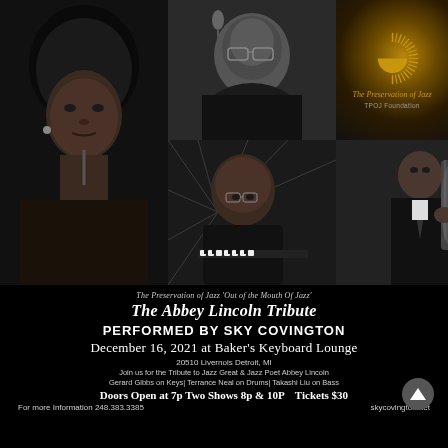[Figure (photo): Collage of jazz performer photos: top-left man with glasses in studio, center tall column woman with natural afro hair (Abbey Lincoln style), top-right The Preservation of Jazz / TPOJ Foundation logo with sunburst, bottom-left bald man at piano with glasses, bottom-center man holding bass instrument, bottom-right woman with decorative head wrap and jeweled forehead]
The Preservation of Jazz 'Out of the Mouth Of Jazz'
The Abbey Lincoln Tribute
PERFORMED BY SKY COVINGTON
December 16, 2021 at Baker's Keyboard Lounge
20510 Livernois Detroit, MI
Join us for the Tribute to Jazz Great & Jazz Poet Abbey Lincoln
Gerard Gibbs on Keys| Terrance Neal on Drums| Takashi Liu on Bass
Doors Open at 7p Two Shows 8p & 10P Tickets $30
For more Information 248.383.3385    skycovington.net